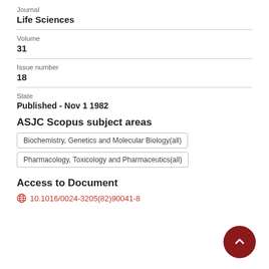Journal
Life Sciences
Volume
31
Issue number
18
State
Published - Nov 1 1982
ASJC Scopus subject areas
Biochemistry, Genetics and Molecular Biology(all)
Pharmacology, Toxicology and Pharmaceutics(all)
Access to Document
10.1016/0024-3205(82)90041-8